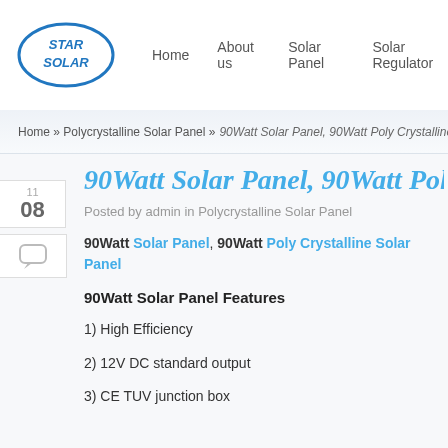[Figure (logo): Star Solar logo — oval blue border with 'STAR SOLAR' text in blue inside]
Home   About us   Solar Panel   Solar Regulator
Home » Polycrystalline Solar Panel » 90Watt Solar Panel, 90Watt Poly Crystalline Solar…
90Watt Solar Panel, 90Watt Poly
Posted by admin in Polycrystalline Solar Panel
90Watt Solar Panel, 90Watt Poly Crystalline Solar Panel
90Watt Solar Panel Features
1) High Efficiency
2) 12V DC standard output
3) CE TUV junction box